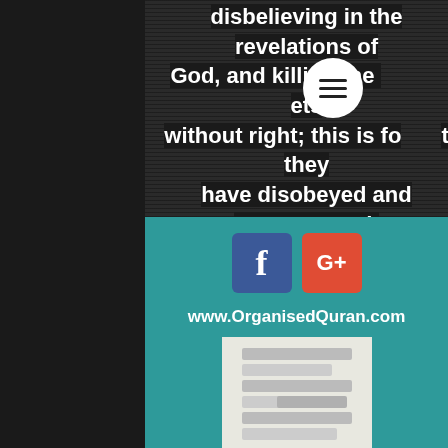disbelieving in the revelations of God, and killing the prophets without right; this is for that they have disobeyed and transgressed.
[Figure (other): Teal footer box with Facebook and Google+ social media icons, website URL www.OrganisedQuran.com, and a logo mark resembling stacked books forming a letter R]